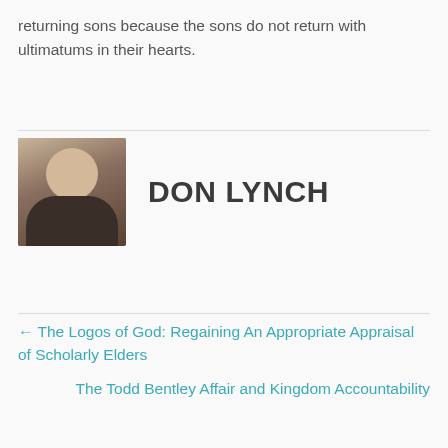returning sons because the sons do not return with ultimatums in their hearts.
[Figure (photo): Portrait photo of Don Lynch, a middle-aged bald man with glasses and a beard, wearing a dark jacket with brown collar, against an outdoor background.]
DON LYNCH
← The Logos of God: Regaining An Appropriate Appraisal of Scholarly Elders
The Todd Bentley Affair and Kingdom Accountability